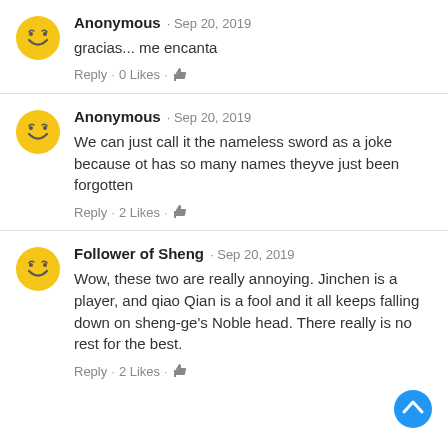Anonymous · Sep 20, 2019
gracias... me encanta
Reply · 0 Likes ·
Anonymous · Sep 20, 2019
We can just call it the nameless sword as a joke because ot has so many names theyve just been forgotten
Reply · 2 Likes ·
Follower of Sheng · Sep 20, 2019
Wow, these two are really annoying. Jinchen is a player, and qiao Qian is a fool and it all keeps falling down on sheng-ge's Noble head. There really is no rest for the best.
Reply · 2 Likes ·